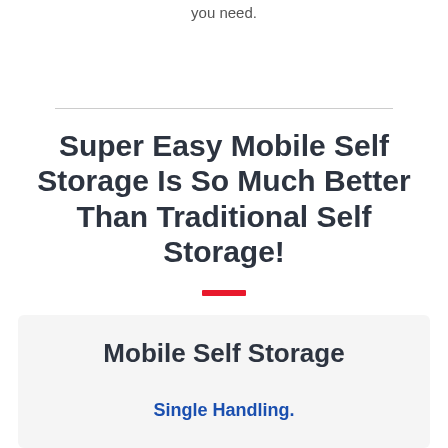you need.
Super Easy Mobile Self Storage Is So Much Better Than Traditional Self Storage!
Mobile Self Storage
Single Handling.